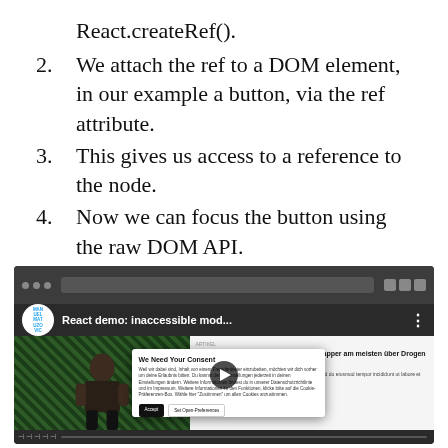React.createRef().
2. We attach the ref to a DOM element, in our example a button, via the ref attribute.
3. This gives us access to a reference to the node.
4. Now we can focus the button using the raw DOM API.
[Figure (screenshot): Screenshot of a browser window showing a YouTube-style video titled 'React demo: inaccessible mod...' with a consent modal overlay reading 'We Need Your Consent' and a play button in the center. The video content shows a person with a colorful patterned background on the left, and an article on the right side. Below is a timeline bar.]